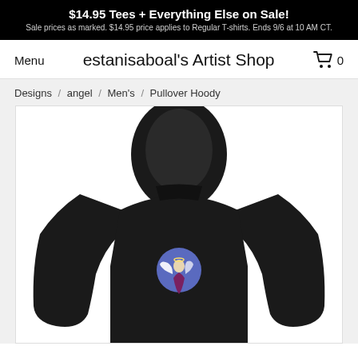$14.95 Tees + Everything Else on Sale! Sale prices as marked. $14.95 price applies to Regular T-shirts. Ends 9/6 at 10 AM CT.
Menu
estanisaboal's Artist Shop
0
Designs / angel / Men's / Pullover Hoody
[Figure (photo): Black pullover hoodie shown from the back, featuring a circular logo with an angel figure on the chest area.]